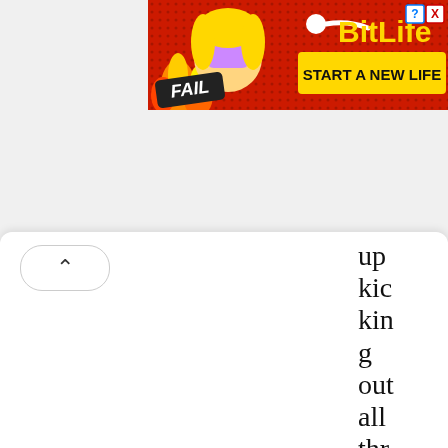[Figure (illustration): BitLife mobile game advertisement banner with red dotted background, cartoon blonde woman covering face with hands (facepalm), flames, 'FAIL' badge, sperm icon, BitLife logo in yellow, and 'START A NEW LIFE' yellow button with question mark and X close icons]
up kicking out all three animals. Jerry uses "invisi
[Figure (other): Up-arrow chevron button (expand/collapse toggle) on white rounded card]